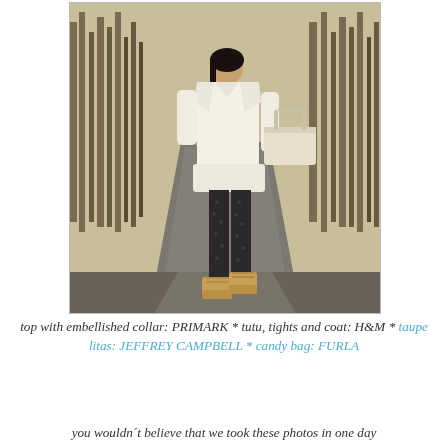[Figure (photo): Fashion photo of a woman standing on a road lined with bare trees. She wears a white coat, black polka-dot tights, tan/nude platform lace-up heels, and carries a white/cream structured handbag. The background shows a forest road in autumn or early spring.]
top with embellished collar: PRIMARK * tutu, tights and coat: H&M * taupe litas: JEFFREY CAMPBELL * candy bag: FURLA
you wouldn't believe that we took these photos in one day